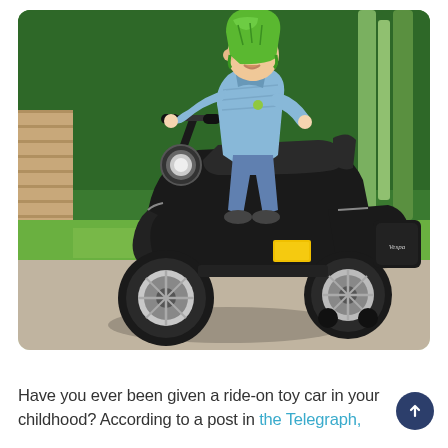[Figure (photo): A young child wearing a green helmet and light blue jacket riding a black miniature Vespa-style electric scooter toy on a paved surface, with green trees and garden in the background.]
Have you ever been given a ride-on toy car in your childhood? According to a post in the Telegraph,